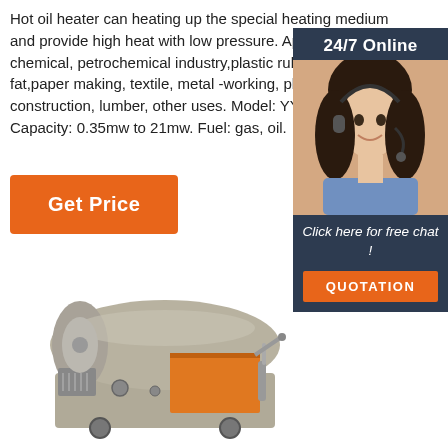Hot oil heater can heating up the special heating medium and provide high heat with low pressure. Application: chemical, petrochemical industry,plastic rubber, oil & fat,paper making, textile, metal -working, plating, construction, lumber, other uses. Model: YY (C... Capacity: 0.35mw to 21mw. Fuel: gas, oil.
[Figure (other): Sidebar widget with woman wearing headset, '24/7 Online' header, 'Click here for free chat!' text, and orange QUOTATION button on dark navy background]
Get Price
[Figure (photo): Industrial hot oil heater / boiler unit, grey cylindrical body with orange panel detail, shown from a perspective angle]